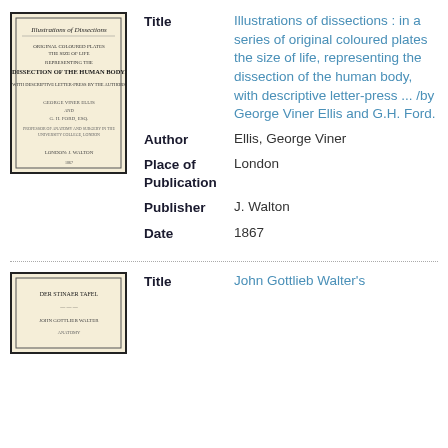[Figure (illustration): Thumbnail of book cover: Illustrations of Dissections]
| Field | Value |
| --- | --- |
| Title | Illustrations of dissections : in a series of original coloured plates the size of life, representing the dissection of the human body, with descriptive letter-press ... /by George Viner Ellis and G.H. Ford. |
| Author | Ellis, George Viner |
| Place of Publication | London |
| Publisher | J. Walton |
| Date | 1867 |
[Figure (illustration): Thumbnail of second book cover: John Gottlieb Walter's book]
| Field | Value |
| --- | --- |
| Title | John Gottlieb Walter's ... |